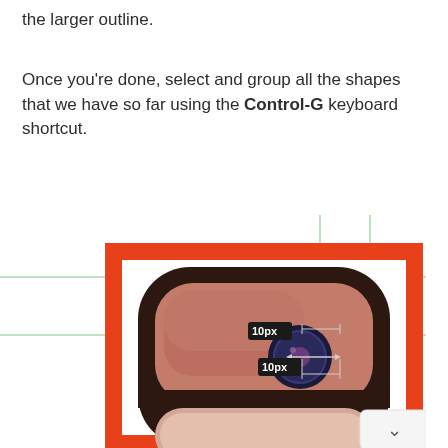the larger outline.
Once you're done, select and group all the shapes that we have so far using the Control-G keyboard shortcut.
[Figure (screenshot): Screenshot of a graphic design application showing an Instagram-like icon being designed. The icon has a rounded square shape with an orange border, dark brown inner rounded square, salmon/pink gradient background, a circular camera lens element with dark navy color and a purple center, and a lighter beige lower section. Green guide lines cross the canvas. Two measurement labels show '10px' distances near the lens. A white scroll-to-top button with a caret is visible in the bottom right.]